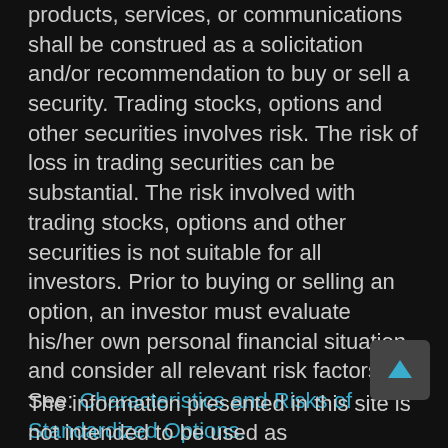products, services, or communications shall be construed as a solicitation and/or recommendation to buy or sell a security. Trading stocks, options and other securities involves risk. The risk of loss in trading securities can be substantial. The risk involved with trading stocks, options and other securities is not suitable for all investors. Prior to buying or selling an option, an investor must evaluate his/her own personal financial situation and consider all relevant risk factors. See: Characteristics and Risks of Standardized Options.
The information presented in this site is not intended to be used as